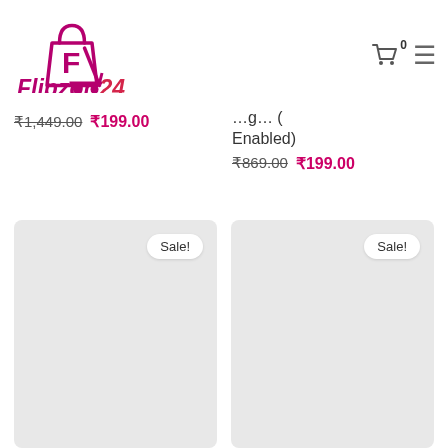[Figure (logo): Flipzon24 logo with shopping bag icon and cart, text reads Flipzon24 .com]
₹1,449.00 ₹199.00
Enabled) ₹869.00 ₹199.00
[Figure (other): Product card with Sale! badge on light gray background]
[Figure (other): Product card with Sale! badge on light gray background]